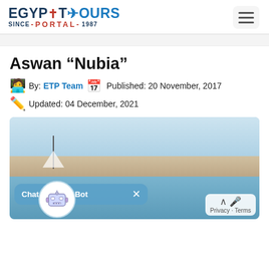[Figure (logo): Egypt Tours Portal logo with ankh symbol and airplane, 'SINCE - PORTAL - 1987' text]
Aswan “Nubia”
By: ETP Team  Published: 20 November, 2017
Updated: 04 December, 2021
[Figure (photo): Aerial/scenic photo of Aswan, Egypt showing the Nile River with sailboats, blue sky, and city buildings in the background]
Chat With our Bot  ×